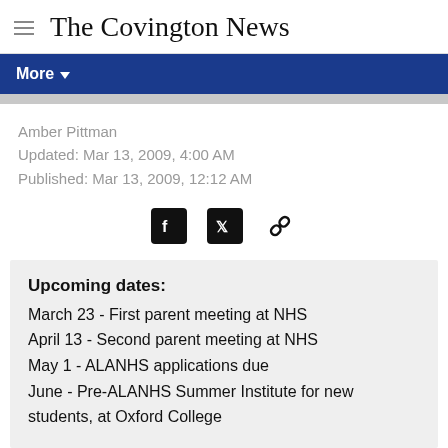The Covington News
Amber Pittman
Updated: Mar 13, 2009, 4:00 AM
Published: Mar 13, 2009, 12:12 AM
[Figure (other): Social sharing icons: Facebook, Twitter, and link]
Upcoming dates: March 23 - First parent meeting at NHS
April 13 - Second parent meeting at NHS
May 1 - ALANHS applications due
June - Pre-ALANHS Summer Institute for new students, at Oxford College